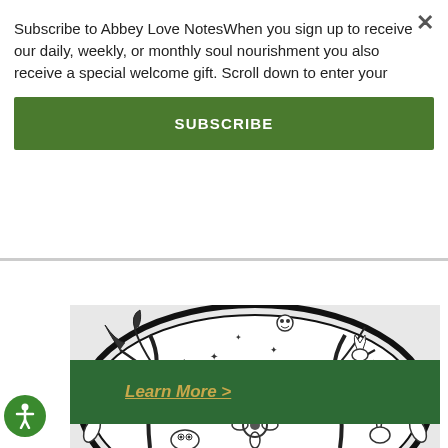Subscribe to Abbey Love NotesWhen you sign up to receive our daily, weekly, or monthly soul nourishment you also receive a special welcome gift. Scroll down to enter your
[Figure (other): Green SUBSCRIBE button]
[Figure (other): Green bar with italic gold 'Learn More >' link and green background]
[Figure (illustration): Black and white circular illustration featuring trees, animals (owls, rabbits, foxes, birds), flowers, and stars arranged in an ornate wreath-like border pattern]